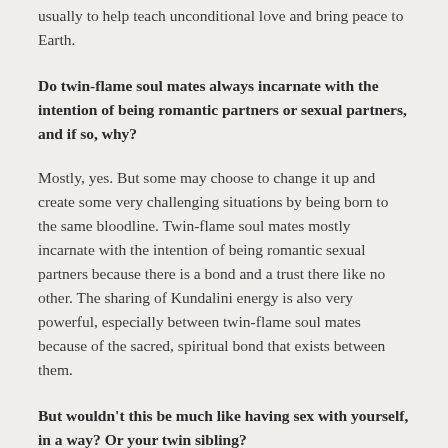usually to help teach unconditional love and bring peace to Earth.
Do twin-flame soul mates always incarnate with the intention of being romantic partners or sexual partners, and if so, why?
Mostly, yes. But some may choose to change it up and create some very challenging situations by being born to the same bloodline. Twin-flame soul mates mostly incarnate with the intention of being romantic sexual partners because there is a bond and a trust there like no other. The sharing of Kundalini energy is also very powerful, especially between twin-flame soul mates because of the sacred, spiritual bond that exists between them.
But wouldn’t this be much like having sex with yourself, in a way? Or your twin sibling?